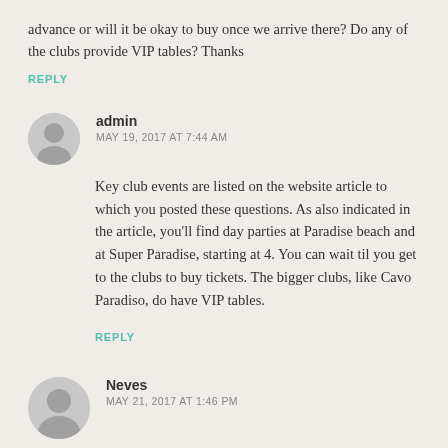advance or will it be okay to buy once we arrive there? Do any of the clubs provide VIP tables? Thanks
REPLY
admin
MAY 19, 2017 AT 7:44 AM
Key club events are listed on the website article to which you posted these questions. As also indicated in the article, you'll find day parties at Paradise beach and at Super Paradise, starting at 4. You can wait til you get to the clubs to buy tickets. The bigger clubs, like Cavo Paradiso, do have VIP tables.
REPLY
Neves
MAY 21, 2017 AT 1:46 PM